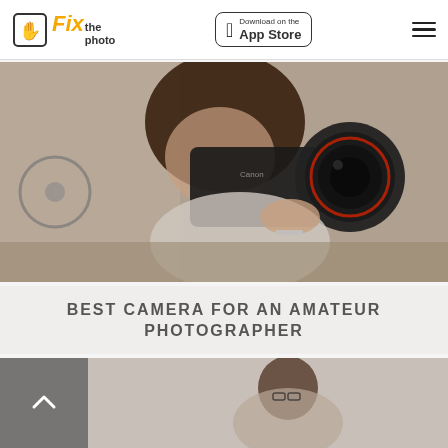Fix the photo | Download on the App Store
[Figure (photo): Woman photographer holding a Canon DSLR camera with a large lens up to her face, wearing a light grey knit sweater and bracelet, outdoors near a stone wall with bicycles in the background]
BEST CAMERA FOR AN AMATEUR PHOTOGRAPHER
[Figure (photo): Partial view of a second article thumbnail showing a woman with glasses, with a back-to-top arrow button overlay on the left side]